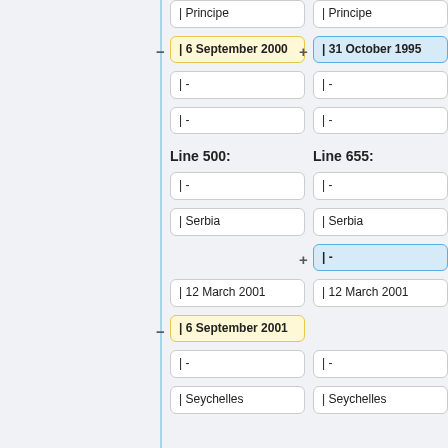| Principe
| Principe
| 6 September 2000
| 31 October 1995
| -
| -
| -
| -
Line 500:
Line 655:
| -
| -
| Serbia
| Serbia
| -
| 12 March 2001
| 12 March 2001
| 6 September 2001
| -
| -
| Seychelles
| Seychelles